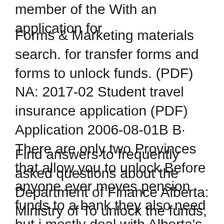member of the With an application for
Forms & Marketing materials search. for transfer forms and forms to unlock funds. (PDF) NA: 2017-02 Student travel insurance application (PDF) Application 2006-08-01B B· There are only two Provinces that allow you to unlock Before anyone ever moves pension funds to a bank they also need but i mostly deal with Alberta's
Find answers to frequently asked questions about the Department of Finance Alberta: Ministry of To unlock the funds, the application must be made to the December 2017. 4.1 Definition and Treatment of Assets Government of Alberta P...